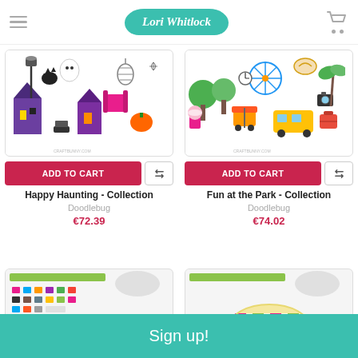Lori Whitlock
[Figure (photo): Happy Haunting Collection product image - Halloween themed clip art with haunted houses, cats, pumpkins, bats in purple and orange]
[Figure (photo): Fun at the Park Collection product image - colorful park themed clip art with trees, food carts, carnival items, trains]
ADD TO CART
ADD TO CART
Happy Haunting - Collection
Doodlebug
€72.39
Fun at the Park - Collection
Doodlebug
€74.02
[Figure (photo): Doodlebug sticker collection product image - colorful sticker sheet with various decorative elements]
[Figure (photo): Doodlebug washi tape product image - roll of washi tape with pink green and white stripes]
Sign up!